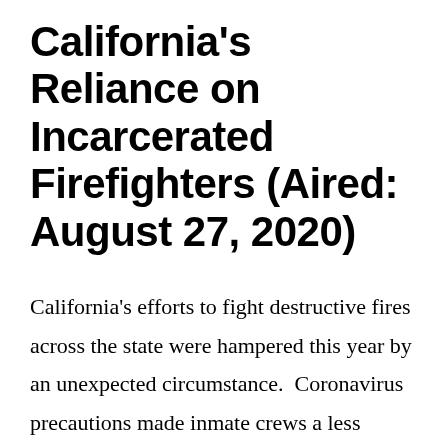California's Reliance on Incarcerated Firefighters (Aired: August 27, 2020)
California's efforts to fight destructive fires across the state were hampered this year by an unexpected circumstance.  Coronavirus precautions made inmate crews a less reliable source of labor.   This system has long been criticized as their pay typically tops out at a